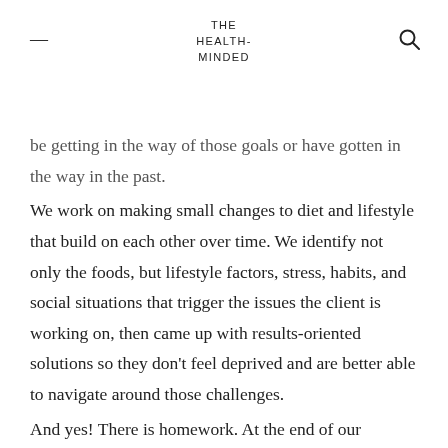THE HEALTH-MINDED
be getting in the way of those goals or have gotten in the way in the past.
We work on making small changes to diet and lifestyle that build on each other over time. We identify not only the foods, but lifestyle factors, stress, habits, and social situations that trigger the issues the client is working on, then came up with results-oriented solutions so they don't feel deprived and are better able to navigate around those challenges.
And yes! There is homework. At the end of our sessions, depending on what we discussed, I will offer several actions or recommendations to implement until we meet again. It could be something as simple as drinking more water,